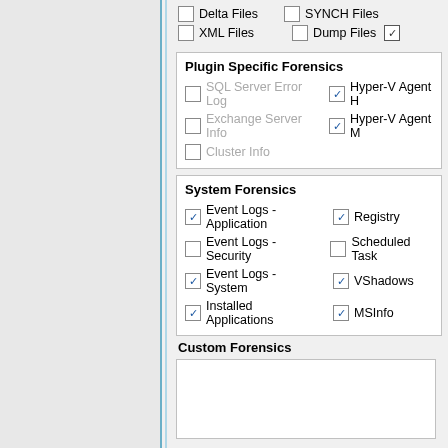[Figure (screenshot): Software UI screenshot showing forensics configuration panel with checkboxes for various file types, Plugin Specific Forensics section, System Forensics section with checkboxes, Custom Forensics text area, Enter ticket number field, and a circled number 1 annotation.]